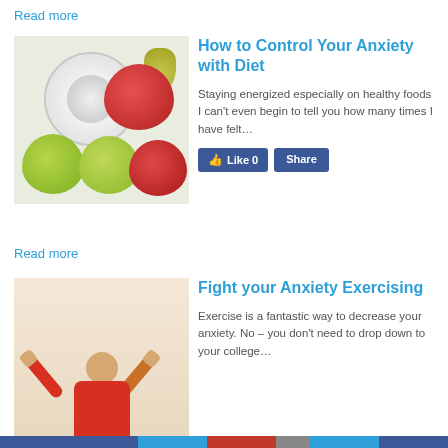Read more
[Figure (photo): Scale surrounded by apples and pears (fruit and diet theme)]
How to Control Your Anxiety with Diet
Staying energized especially on healthy foods   I can't even begin to tell you how many times I have felt…
[Figure (other): Facebook Like and Share buttons]
Read more
[Figure (photo): Person in red shirt with arms raised in victory pose]
Fight your Anxiety Exercising
Exercise is a fantastic way to decrease your anxiety. No – you don't need to drop down to your college…